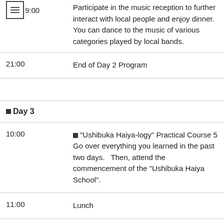| Time | Description |
| --- | --- |
| 19:00 | Participate in the music reception to further interact with local people and enjoy dinner. You can dance to the music of various categories played by local bands. |
| 21:00 | End of Day 2 Program |
|  |  |
| ■Day 3 |  |
| 10:00 | ■"Ushibuka Haiya-logy" Practical Course 5 Go over everything you learned in the past two days.   Then, attend the commencement of the "Ushibuka Haiya School". |
| 11:00 | Lunch |
|  | Participate in the actual "Ushibuka Haiya Festival" to enjoy the charm of ... |